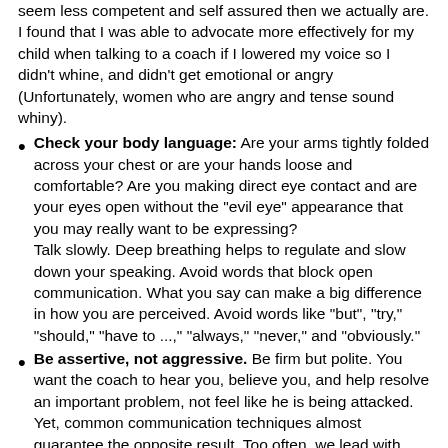seem less competent and self assured then we actually are. I found that I was able to advocate more effectively for my child when talking to a coach if I lowered my voice so I didn't whine, and didn't get emotional or angry (Unfortunately, women who are angry and tense sound whiny).
Check your body language: Are your arms tightly folded across your chest or are your hands loose and comfortable? Are you making direct eye contact and are your eyes open without the "evil eye" appearance that you may really want to be expressing?
Talk slowly. Deep breathing helps to regulate and slow down your speaking. Avoid words that block open communication. What you say can make a big difference in how you are perceived. Avoid words like "but", "try," "should," "have to ...," "always," "never," and "obviously."
Be assertive, not aggressive. Be firm but polite. You want the coach to hear you, believe you, and help resolve an important problem, not feel like he is being attacked. Yet, common communication techniques almost guarantee the opposite result. Too often, we lead with personal attacks, exaggerations, and pre-judgments. Opening salvos such as "You